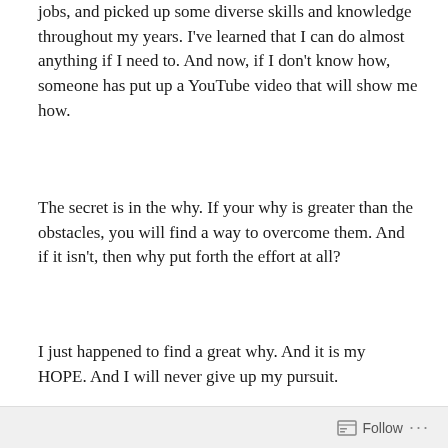jobs, and picked up some diverse skills and knowledge throughout my years. I’ve learned that I can do almost anything if I need to. And now, if I don’t know how, someone has put up a YouTube video that will show me how.
The secret is in the why. If your why is greater than the obstacles, you will find a way to overcome them. And if it isn't, then why put forth the effort at all?
I just happened to find a great why. And it is my HOPE. And I will never give up my pursuit.
August 7, 2018
Leave a Reply